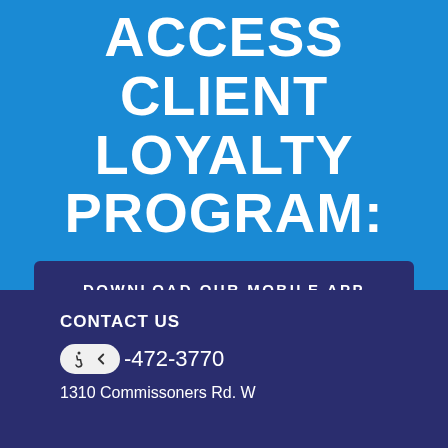ACCESS CLIENT LOYALTY PROGRAM:
DOWNLOAD OUR MOBILE APP
CONTACT US
-472-3770
1310 Commissoners Rd. W